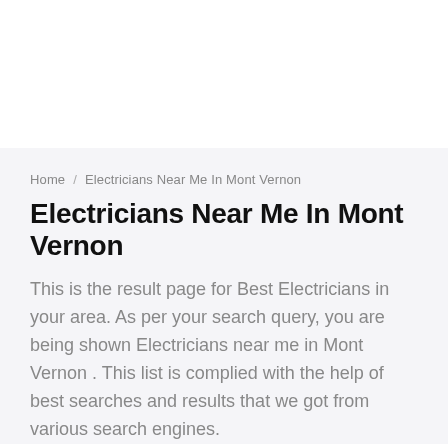Home / Electricians Near Me In Mont Vernon
Electricians Near Me In Mont Vernon
This is the result page for Best Electricians in your area. As per your search query, you are being shown Electricians near me in Mont Vernon . This list is complied with the help of best searches and results that we got from various search engines.